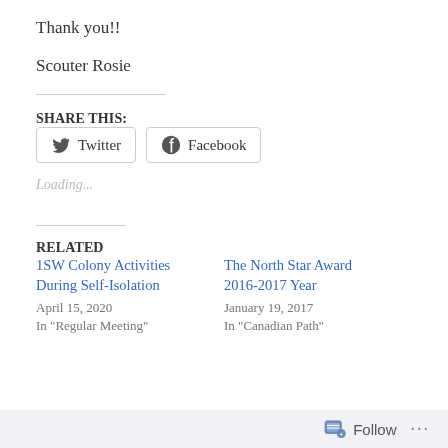Thank you!!
Scouter Rosie
SHARE THIS:
[Figure (other): Social sharing buttons for Twitter and Facebook]
Loading...
RELATED
1SW Colony Activities During Self-Isolation
April 15, 2020
In "Regular Meeting"
The North Star Award 2016-2017 Year
January 19, 2017
In "Canadian Path"
Follow ...